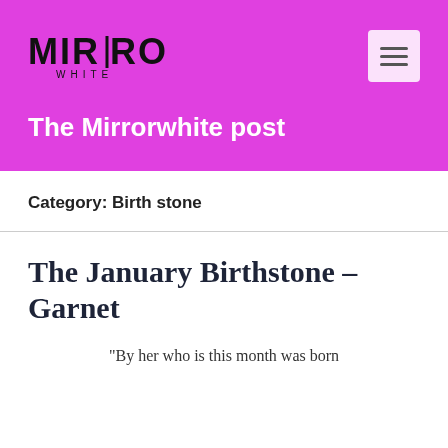[Figure (logo): Mirror White logo with stylized text and vertical bar between MIR and ROR, with WHITE subtitle]
The Mirrorwhite post
Category: Birth stone
The January Birthstone – Garnet
“By her who is this month was born